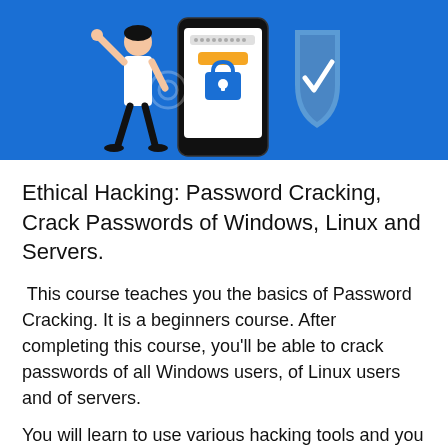[Figure (illustration): Illustration on blue background showing a person standing next to a large smartphone with a padlock icon, and a blue shield with a white checkmark. The background is bright blue.]
Ethical Hacking: Password Cracking, Crack Passwords of Windows, Linux and Servers.
This course teaches you the basics of Password Cracking. It is a beginners course. After completing this course, you'll be able to crack passwords of all Windows users, of Linux users and of servers.
You will learn to use various hacking tools and you